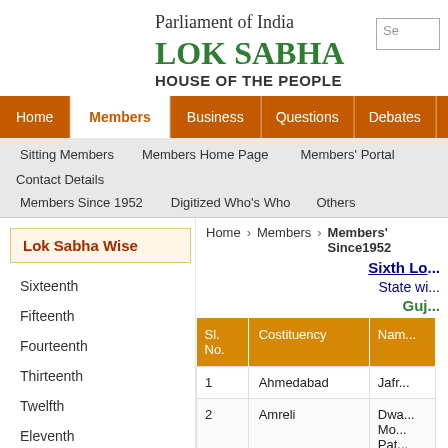Parliament of India LOK SABHA HOUSE OF THE PEOPLE
Home | Members | Business | Questions | Debates | Papers
Sitting Members | Members Home Page | Members' Portal | Contact Details | Members Since 1952 | Digitized Who's Who | Others
Lok Sabha Wise
Sixteenth
Fifteenth
Fourteenth
Thirteenth
Twelfth
Eleventh
Tenth
Home Members Members' Since1952
Sixth Lo...
State wi...
Guj...
| Sl. No. | Constituency | Nam... |
| --- | --- | --- |
| 1 | Ahmedabad | Jafr... |
| 2 | Amreli | Dwa... Mo... Pat... |